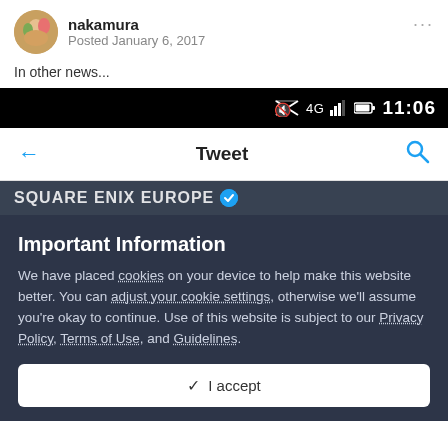nakamura · Posted January 6, 2017
In other news...
[Figure (screenshot): Mobile phone status bar showing signal icons (muted, 4G), signal strength, battery, and time 11:06 on black background]
[Figure (screenshot): Twitter app navigation bar with back arrow, 'Tweet' title in bold, and search icon in blue]
[Figure (screenshot): Partial view of SQUARE ENIX EUROPE Twitter account header with verified badge on dark background]
Important Information
We have placed cookies on your device to help make this website better. You can adjust your cookie settings, otherwise we'll assume you're okay to continue. Use of this website is subject to our Privacy Policy, Terms of Use, and Guidelines.
✓ I accept